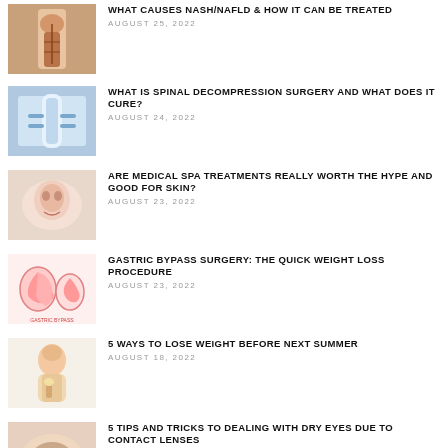WHAT CAUSES NASH/NAFLD & HOW IT CAN BE TREATED — AUGUST 25, 2022
WHAT IS SPINAL DECOMPRESSION SURGERY AND WHAT DOES IT CURE? — AUGUST 24, 2022
ARE MEDICAL SPA TREATMENTS REALLY WORTH THE HYPE AND GOOD FOR SKIN? — AUGUST 23, 2022
GASTRIC BYPASS SURGERY: THE QUICK WEIGHT LOSS PROCEDURE — AUGUST 23, 2022
5 WAYS TO LOSE WEIGHT BEFORE NEXT SUMMER — AUGUST 18, 2022
5 TIPS AND TRICKS TO DEALING WITH DRY EYES DUE TO CONTACT LENSES — AUGUST 17, 2022
INVESTMENT OPTIONS: 5 REASONS TO GET YOURSELF MEDICALLY INSURED